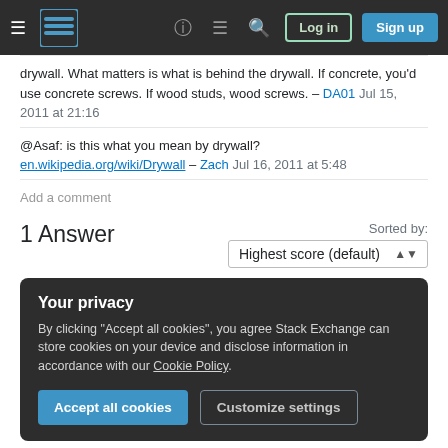[Figure (screenshot): Stack Exchange / Stack Overflow navigation bar with hamburger menu, logo, help, chat, search icons, and Log in / Sign up buttons]
drywall. What matters is what is behind the drywall. If concrete, you'd use concrete screws. If wood studs, wood screws. – DA01 Jul 15, 2011 at 21:16
@Asaf: is this what you mean by drywall? en.wikipedia.org/wiki/Drywall – Zach Jul 16, 2011 at 5:48
Add a comment
1 Answer
Sorted by:
Highest score (default)
Your privacy
By clicking "Accept all cookies", you agree Stack Exchange can store cookies on your device and disclose information in accordance with our Cookie Policy.
Accept all cookies  Customize settings
be securely screwed into every stud along its length